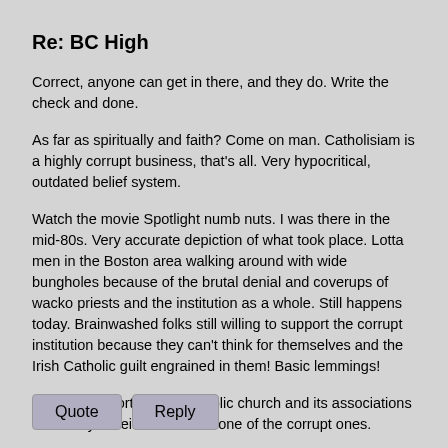Re: BC High
Correct, anyone can get in there, and they do. Write the check and done.
As far as spiritually and faith? Come on man. Catholisiam is a highly corrupt business, that's all. Very hypocritical, outdated belief system.
Watch the movie Spotlight numb nuts. I was there in the mid-80s. Very accurate depiction of what took place. Lotta men in the Boston area walking around with wide bungholes because of the brutal denial and coverups of wacko priests and the institution as a whole. Still happens today. Brainwashed folks still willing to support the corrupt institution because they can't think for themselves and the Irish Catholic guilt engrained in them! Basic lemmings!
Anyone supporting the Catholic church and its associations these days is either dumb or one of the corrupt ones.